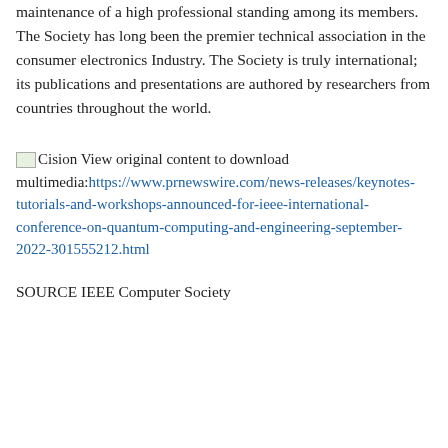maintenance of a high professional standing among its members. The Society has long been the premier technical association in the consumer electronics Industry. The Society is truly international; its publications and presentations are authored by researchers from countries throughout the world.
Cision View original content to download multimedia: https://www.prnewswire.com/news-releases/keynotes-tutorials-and-workshops-announced-for-ieee-international-conference-on-quantum-computing-and-engineering-september-2022-301555212.html
SOURCE IEEE Computer Society